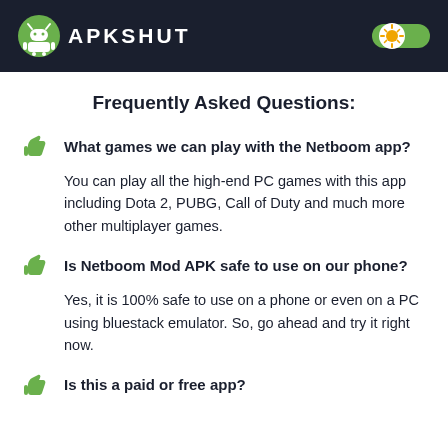APKSHUT
Frequently Asked Questions:
What games we can play with the Netboom app?
You can play all the high-end PC games with this app including Dota 2, PUBG, Call of Duty and much more other multiplayer games.
Is Netboom Mod APK safe to use on our phone?
Yes, it is 100% safe to use on a phone or even on a PC using bluestack emulator. So, go ahead and try it right now.
Is this a paid or free app?